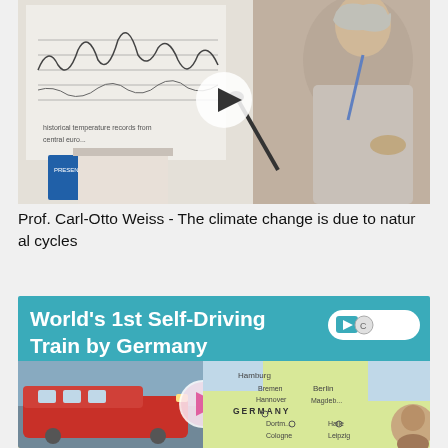[Figure (photo): A professor (Prof. Carl-Otto Weiss) presenting at a conference, standing beside a screen showing historical temperature records. A play button overlay is visible indicating a video thumbnail.]
Prof. Carl-Otto Weiss - The climate change is due to natural cycles
[Figure (photo): Video thumbnail showing 'World's 1st Self-Driving Train by Germany' with a teal header, a red self-driving train on the left, and a map of Germany on the right. A play button overlay is visible.]